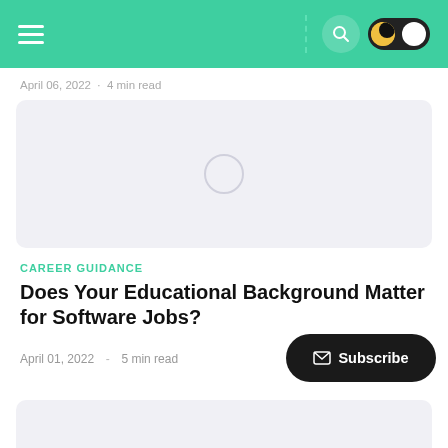Navigation bar with hamburger menu, search icon, and dark mode toggle
April 06, 2022  ·  4 min read
[Figure (photo): Article hero image placeholder (light gray box with loading spinner circle)]
CAREER GUIDANCE
Does Your Educational Background Matter for Software Jobs?
April 01, 2022  -  5 min read
[Figure (other): Subscribe button overlay (dark pill-shaped button with envelope icon and text 'Subscribe')]
[Figure (photo): Second article hero image placeholder (partial, light gray, at bottom of page)]